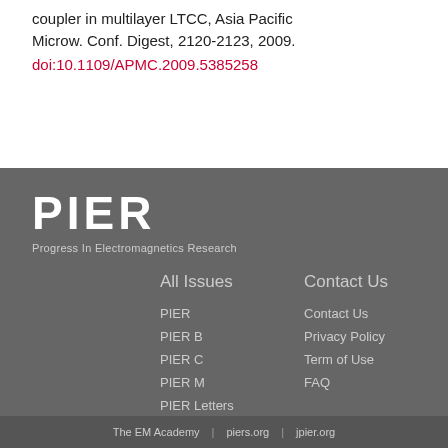coupler in multilayer LTCC, Asia Pacific Microw. Conf. Digest, 2120-2123, 2009.
doi:10.1109/APMC.2009.5385258
[Figure (logo): PIER logo — white bold letters 'PIER' on grey background with subtitle 'Progress In Electromagnetics Research']
All Issues
PIER
PIER B
PIER C
PIER M
PIER Letters
Contact Us
Contact Us
Privacy Policy
Term of Use
FAQ
The EM Academy | piers.org | jpier.org